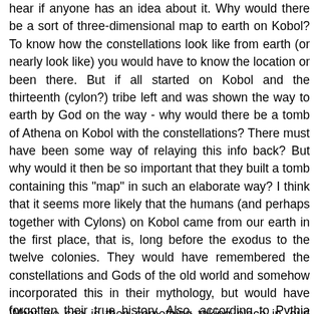hear if anyone has an idea about it. Why would there be a sort of three-dimensional map to earth on Kobol? To know how the constellations look like from earth (or nearly look like) you would have to know the location or been there. But if all started on Kobol and the thirteenth (cylon?) tribe left and was shown the way to earth by God on the way - why would there be a tomb of Athena on Kobol with the constellations? There must have been some way of relaying this info back? But why would it then be so important that they built a tomb containing this "map" in such an elaborate way? I think that it seems more likely that the humans (and perhaps together with Cylons) on Kobol came from our earth in the first place, that is, long before the exodus to the twelve colonies. They would have remembered the constellations and Gods of the old world and somehow incorporated this in their mythology, but would have forgotten their true history. Also, according to Pythia ,the leaders of the twelwe tribes offered their bodies to the gods upon exodus from Kobol - were they used as models for some original cylons?
What we see is then something taking place in 'our' future,